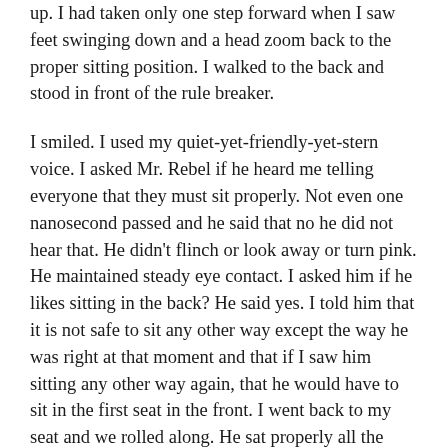up. I had taken only one step forward when I saw feet swinging down and a head zoom back to the proper sitting position. I walked to the back and stood in front of the rule breaker.
I smiled. I used my quiet-yet-friendly-yet-stern voice. I asked Mr. Rebel if he heard me telling everyone that they must sit properly. Not even one nanosecond passed and he said that no he did not hear that. He didn't flinch or look away or turn pink. He maintained steady eye contact. I asked him if he likes sitting in the back? He said yes. I told him that it is not safe to sit any other way except the way he was right at that moment and that if I saw him sitting any other way again, that he would have to sit in the first seat in the front. I went back to my seat and we rolled along. He sat properly all the way home.
Now there is one other thing you should know about Mister Man. When summer school started over three weeks ago and I was given this route, I was warned that this particular friend was a trouble maker. That he would give me a hard time and that if I could pick him up last and drop him off first, it would make my